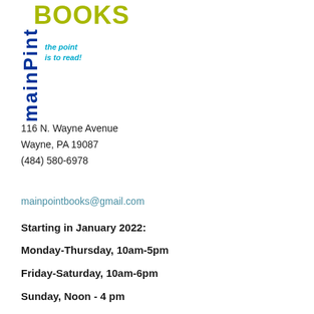[Figure (logo): MainPoint Books logo with 'BOOKS' in olive/yellow-green, 'mainPoint' in vertical blue text, and tagline 'the point is to read!' in teal italic]
116 N. Wayne Avenue
Wayne, PA 19087
(484) 580-6978
mainpointbooks@gmail.com
Starting in January 2022:
Monday-Thursday, 10am-5pm
Friday-Saturday, 10am-6pm
Sunday, Noon - 4 pm